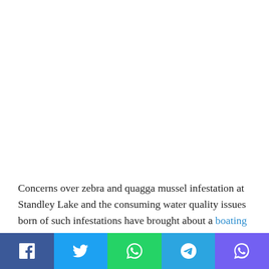Concerns over zebra and quagga mussel infestation at Standley Lake and the consuming water quality issues born of such infestations have brought about a boating ban this season. After evaluating boat release information
[Figure (other): Social media share buttons: Facebook, Twitter, WhatsApp, Telegram, Viber]